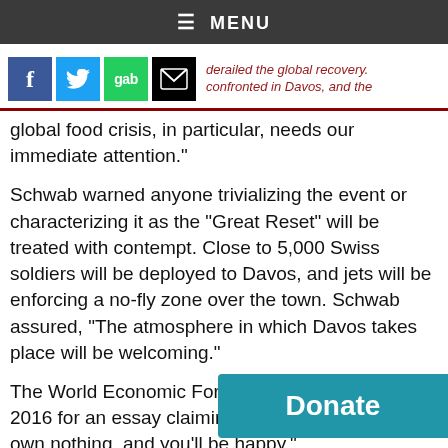≡ MENU
[Figure (other): Social share buttons: Facebook, Twitter, Gab, Email. Partial faded text visible: 'derailed the global recovery.' and 'confronted in Davos, and the']
global food crisis, in particular, needs our immediate attention."
Schwab warned anyone trivializing the event or characterizing it as the "Great Reset" will be treated with contempt. Close to 5,000 Swiss soldiers will be deployed to Davos, and jets will be enforcing a no-fly zone over the town. Schwab assured, "The atmosphere in which Davos takes place will be welcoming."
The World Economic Forum came under fire in 2016 for an essay claiming, in the future, "you will own nothing, and you'll be happy."
Klaus Schwab, executive chairman, World Economic Forum: "Your excellencies, ladies a
[Figure (other): Donate button (teal/blue background, white bold text: Donate)]